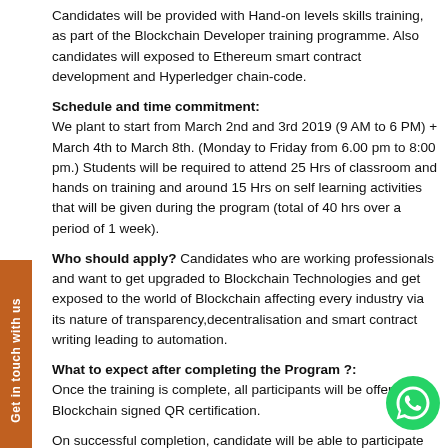Candidates will be provided with Hand-on levels skills training, as part of the Blockchain Developer training programme. Also candidates will exposed to Ethereum smart contract development and Hyperledger chain-code.
Schedule and time commitment:
We plant to start from March 2nd and 3rd 2019 (9 AM to 6 PM) + March 4th to March 8th. (Monday to Friday from 6.00 pm to 8:00 pm.) Students will be required to attend 25 Hrs of classroom and hands on training and around 15 Hrs on self learning activities that will be given during the program (total of 40 hrs over a period of 1 week).
Who should apply?
Candidates who are working professionals and want to get upgraded to Blockchain Technologies and get exposed to the world of Blockchain affecting every industry via its nature of transparency,decentralisation and smart contract writing leading to automation.
What to expect after completing the Program ?:
Once the training is complete, all participants will be offered Blockchain signed QR certification.
On successful completion, candidate will be able to participate the Full-Stack Blockchain Developer app hackathons and job